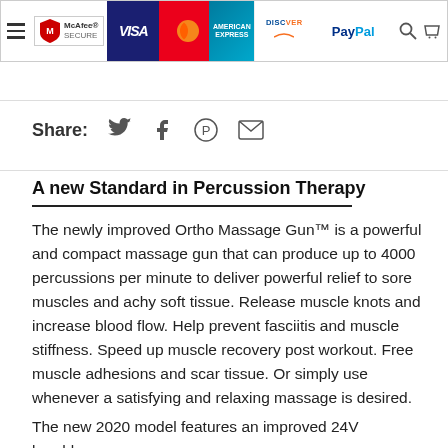[Figure (screenshot): Top banner showing McAfee Secure badge and payment method logos: Visa, Mastercard, American Express, Discover, PayPal, plus search and cart icons]
Share:
A new Standard in Percussion Therapy
The newly improved Ortho Massage Gun™ is a powerful and compact massage gun that can produce up to 4000 percussions per minute to deliver powerful relief to sore muscles and achy soft tissue. Release muscle knots and increase blood flow. Help prevent fasciitis and muscle stiffness. Speed up muscle recovery post workout. Free muscle adhesions and scar tissue. Or simply use whenever a satisfying and relaxing massage is desired.
The new 2020 model features an improved 24V brushless